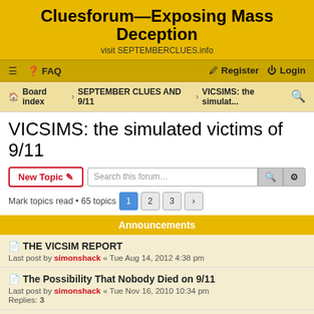Cluesforum—Exposing Mass Deception
visit SEPTEMBERCLUES.info
≡ FAQ  Register  Login
Board index › SEPTEMBER CLUES AND 9/11 › VICSIMS: the simulat...
VICSIMS: the simulated victims of 9/11
New Topic  Search this forum…  Mark topics read • 65 topics  1 2 3 >
Announcements
THE VICSIM REPORT
Last post by simonshack « Tue Aug 14, 2012 4:38 pm
The Possibility That Nobody Died on 9/11
Last post by simonshack « Tue Nov 16, 2010 10:34 pm
Replies: 3
"TOUR GUIDE" to the September Clues research
Last post by simonshack « Mon Nov 15, 2010 10:05 am
9/11 MEMORIAL SCAMS
Last post by antipodean « Wed Feb 16, 2011 8:17 am
Replies: 1209